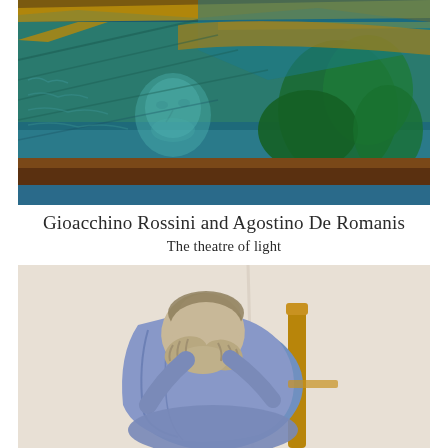[Figure (illustration): Painting with teal/blue-green tones showing a landscape or abstract scene with diagonal lines, a face/figure partially visible in the lower center-left area, green leaf-like shapes on the right, and a brown horizontal band near the bottom. Gold/yellow diagonal lines cross the composition.]
Gioacchino Rossini and Agostino De Romanis
The theatre of light
[Figure (illustration): Painting of an elderly man seated in a wooden chair, hunched over with his head bowed and hands covering his face in apparent grief or despair. He wears a blue shirt. The background is pale/cream colored with a faint vertical line. Style reminiscent of Van Gogh.]